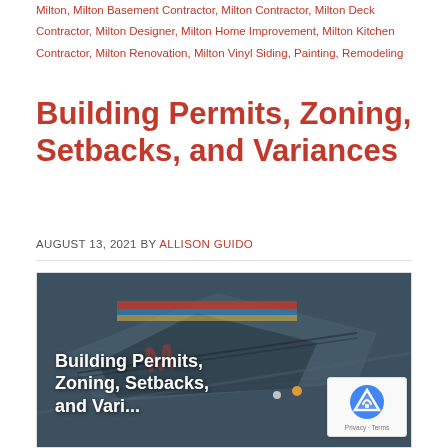Milton, Milton Basement Contractor, Milton Contractor, Milton Deck Contractor, Milton Designer, Milton Home Improvement, Milton Kitchen Contractor, Milton Renovation, Milton Vinyl Siding, Painting, Remodeling
Building Permits, Zoning, Setbacks, and Variances
AUGUST 13, 2021 BY ALLISON GUIDO
[Figure (photo): Aerial construction site photo with overlaid text reading 'Building Permits, Zoning, Setbacks, and Vari...' Workers and construction materials visible from above. A reCAPTCHA badge is overlaid in the bottom-right corner.]